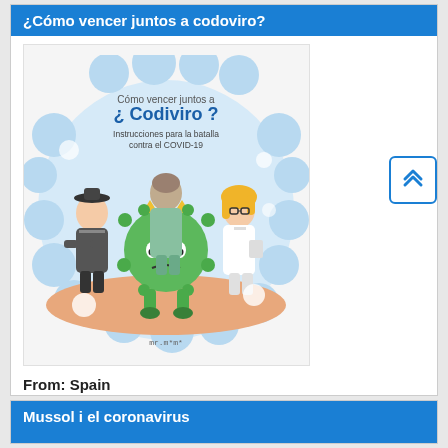¿Cómo vencer juntos a codoviro?
[Figure (illustration): Book cover illustration titled '¿Cómo vencer juntos a Codiviro?' showing cartoon characters (police officer, doctor/nurse, and scientist) standing over a green coronavirus character with a crown. Subtitle: 'Instrucciones para la batalla contra el COVID-19'. Attribution: mr.m*m*]
From: Spain
Mussol i el coronavirus